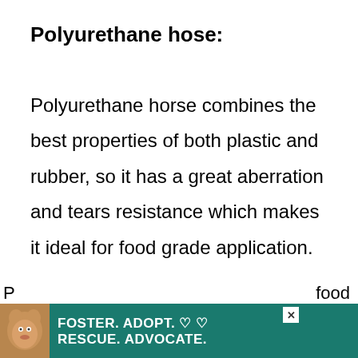Polyurethane hose:
Polyurethane horse combines the best properties of both plastic and rubber, so it has a great aberration and tears resistance which makes it ideal for food grade application.
Polyurethane varnish:
[Figure (infographic): Advertisement banner: green background with dog image, text FOSTER. ADOPT. RESCUE. ADVOCATE. with heart icons and close button]
P[artial text visible] food